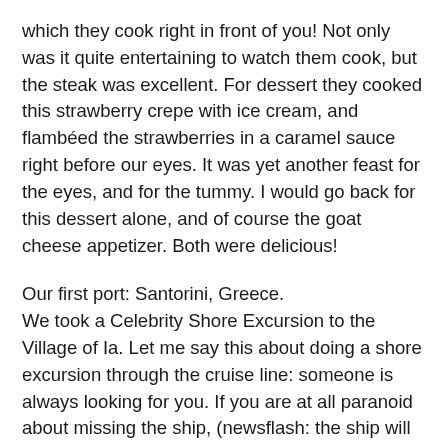which they cook right in front of you! Not only was it quite entertaining to watch them cook, but the steak was excellent. For dessert they cooked this strawberry crepe with ice cream, and flambéed the strawberries in a caramel sauce right before our eyes. It was yet another feast for the eyes, and for the tummy. I would go back for this dessert alone, and of course the goat cheese appetizer. Both were delicious!
Our first port: Santorini, Greece.
We took a Celebrity Shore Excursion to the Village of Ia. Let me say this about doing a shore excursion through the cruise line: someone is always looking for you. If you are at all paranoid about missing the ship, (newsflash: the ship will leave if you don't return by a certain time) or about sending your kids (um, adult kids) on a cruise to Europe without your watchful eye (hi Moms!) then suggesting them to go on shore excursions sponsored by the cruise ship might be the way to go. It was/is our first time in Europe and we wouldn't know where to go anyway, so the suggested tours from Celebrity were more than good picks for us. The tour was broken up into three parts: First, we visited a winery. This